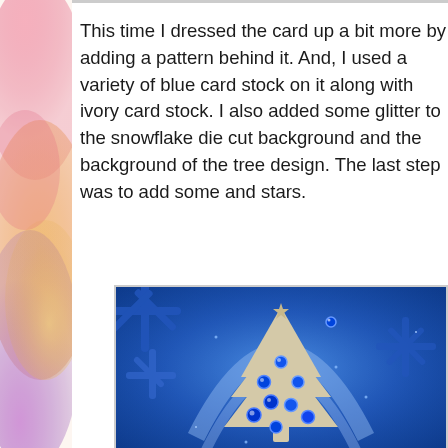[Figure (illustration): Watercolor painting strip on the left side with pink, orange, purple, and yellow abstract floral/color wash design]
This time I dressed the card up a bit more by adding a pattern behind it. And, I used a variety of blue card stock on it along with ivory card stock. I also added some glitter to the snowflake die cut background and the background of the tree design. The last step was to add some blue rhinestones and stars.
[Figure (photo): Close-up photograph of a handmade Christmas card featuring a blue glitter snowflake die cut background with an ivory tree silhouette design decorated with blue rhinestone gems and star embellishments]